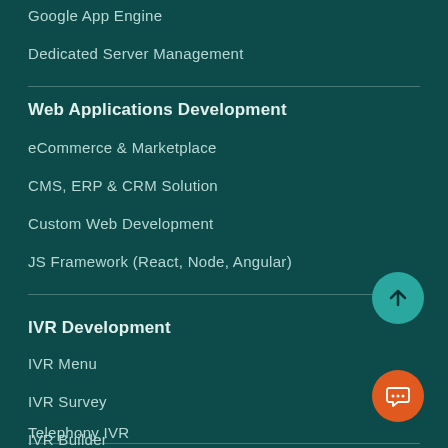Google App Engine
Dedicated Server Management
Web Applications Development
eCommerce & Marketplace
CMS, ERP & CRM Solution
Custom Web Development
JS Framework (React, Node, Angular)
IVR Development
IVR Menu
IVR Survey
Telephony IVR
IVR Builder